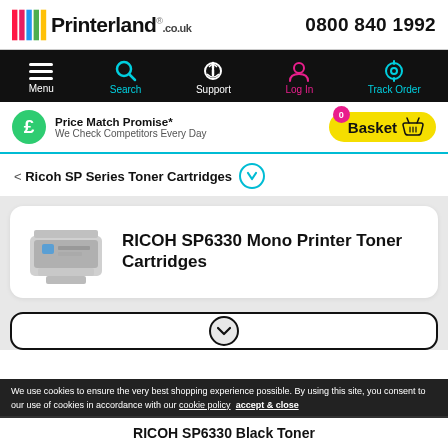Printerland.co.uk  0800 840 1992
[Figure (screenshot): Navigation bar with Menu, Search, Support, Log In, Track Order icons on black background]
Price Match Promise* We Check Competitors Every Day
0 Basket
< Ricoh SP Series Toner Cartridges
RICOH SP6330 Mono Printer Toner Cartridges
[Figure (photo): Ricoh SP6330 mono laser printer, silver and black, front-left view]
We use cookies to ensure the very best shopping experience possible. By using this site, you consent to our use of cookies in accordance with our cookie policy  accept & close
RICOH SP6330 Black Toner